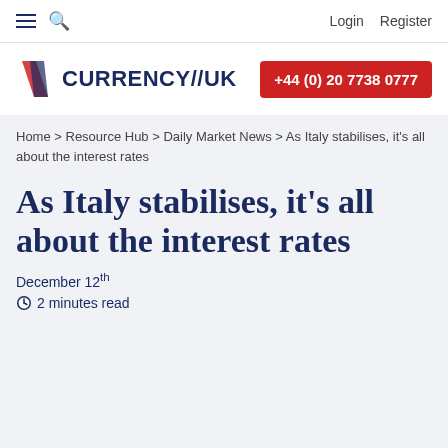Login  Register
[Figure (logo): Currency//UK logo with red diagonal stripe icon and dark navy text]
+44 (0) 20 7738 0777
Home > Resource Hub > Daily Market News > As Italy stabilises, it's all about the interest rates
As Italy stabilises, it’s all about the interest rates
December 12th
2 minutes read